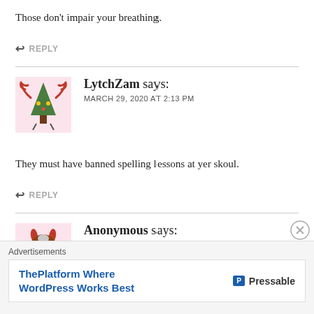Those don't impair your breathing.
↩ REPLY
LytchZam says: MARCH 29, 2020 AT 2:13 PM
They must have banned spelling lessons at yer skoul.
↩ REPLY
Anonymous says: MARCH 29, 2020 AT 3:10 PM
Advertisements
[Figure (logo): Pressable advertisement: ThePlatform Where WordPress Works Best]
[Figure (illustration): LytchZam avatar: cartoon Christmas tree monster with antlers]
[Figure (illustration): Anonymous avatar: cartoon brown bearded creature with horns and green feet]